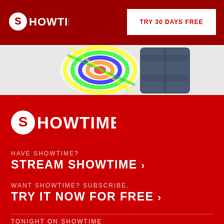[Figure (logo): SHOWTIME logo in white on dark red header bar]
TRY 30 DAYS FREE
[Figure (photo): Colorful tie-dye long sleeve shirt on white background]
[Figure (photo): Dark navy zip-up jacket on white background]
[Figure (logo): SHOWTIME logo large white on red background]
HAVE SHOWTIME?
STREAM SHOWTIME >
WANT SHOWTIME? SUBSCRIBE.
TRY IT NOW FOR FREE >
TONIGHT ON SHOWTIME